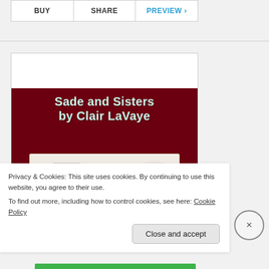BUY  |  SHARE  |  PREVIEW >
[Figure (illustration): Book cover for 'Sade and Sisters by Clair LaVaye' — dark red/maroon background with light teal bubble-letter title text, and lower portion showing white fabric/clothing with a dark figure and a pink-toned head/hair visible]
Privacy & Cookies: This site uses cookies. By continuing to use this website, you agree to their use.
To find out more, including how to control cookies, see here: Cookie Policy
Close and accept